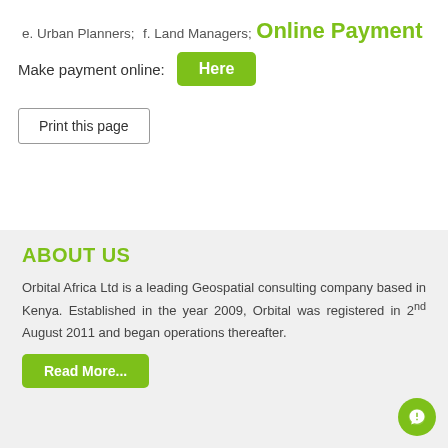e. Urban Planners;
f. Land Managers;
Online Payment
Make payment online: Here
Print this page
ABOUT US
Orbital Africa Ltd is a leading Geospatial consulting company based in Kenya. Established in the year 2009, Orbital was registered in 2nd August 2011 and began operations thereafter.
Read More...